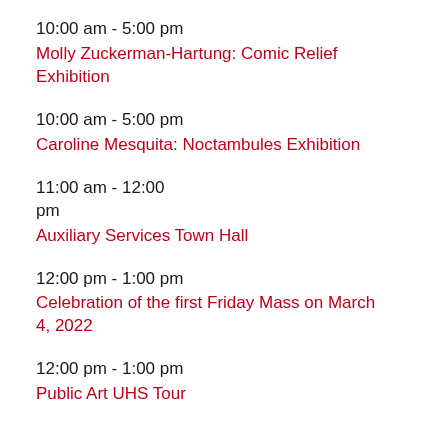10:00 am - 5:00 pm
Molly Zuckerman-Hartung: Comic Relief Exhibition
10:00 am - 5:00 pm
Caroline Mesquita: Noctambules Exhibition
11:00 am - 12:00 pm
Auxiliary Services Town Hall
12:00 pm - 1:00 pm
Celebration of the first Friday Mass on March 4, 2022
12:00 pm - 1:00 pm
Public Art UHS Tour